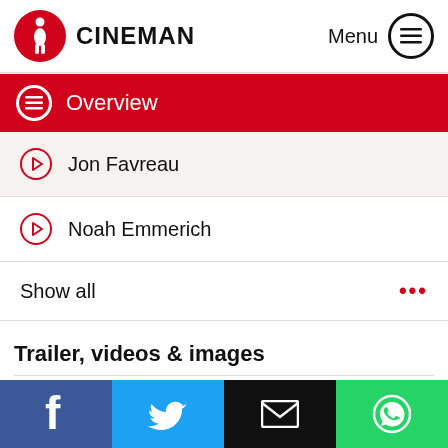CINEMAN Menu
Overview
Jon Favreau
Noah Emmerich
Show all
Trailer, videos & images
[Figure (photo): A couple kissing, partially visible, cropped at the bottom of the page.]
[Figure (infographic): Social sharing bar with Facebook, Twitter, Email, and WhatsApp buttons at the bottom of the screen.]